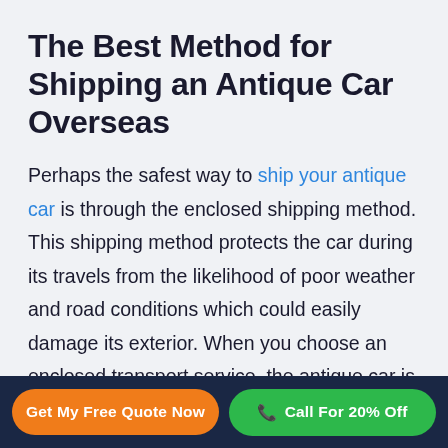The Best Method for Shipping an Antique Car Overseas
Perhaps the safest way to ship your antique car is through the enclosed shipping method. This shipping method protects the car during its travels from the likelihood of poor weather and road conditions which could easily damage its exterior. When you choose an enclosed transport service, the antique car is placed within a large shipping container where it is secured. The metal walls of the container won't let anything reach the vehicle
Get My Free Quote Now | Call For 20% Off